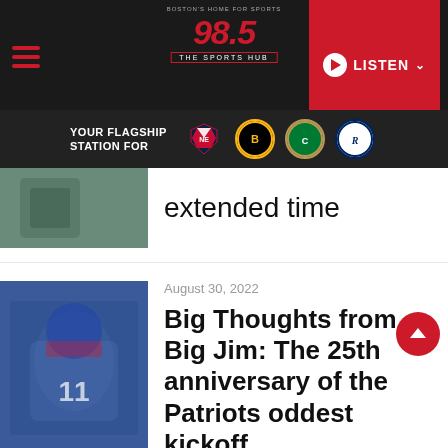98.5 The Sports Hub — BOSTON'S HOME FOR SPORTS — YOUR FLAGSHIP STATION FOR [Patriots, Bruins, Celtics, Revolution logos] — LISTEN
extended time
August 30, 2022
Big Thoughts from Big Jim: The 25th anniversary of the Patriots oddest kickoff
September 1, 2022